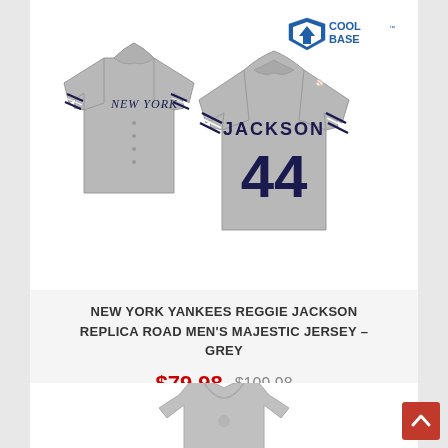[Figure (photo): New York Yankees Reggie Jackson #44 grey road baseball jersey - shown front and back views. Cool Base logo in top right. Majestic brand.]
NEW YORK YANKEES REGGIE JACKSON REPLICA ROAD MEN'S MAJESTIC JERSEY - GREY
$79.98  $109.98
[Figure (photo): Partial view of a grey v-neck women's shirt/jersey at the bottom of the page.]